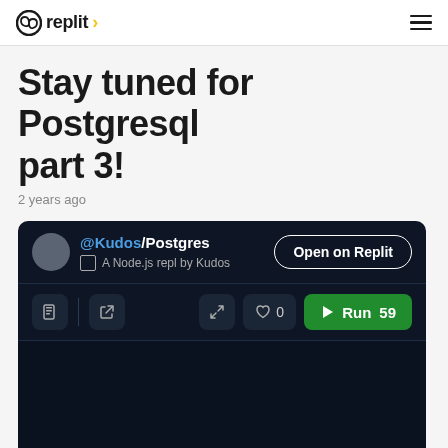replit
Stay tuned for Postgresql part 3!
2 years ago
[Figure (screenshot): Replit embedded repl card showing @Kudos/Postgres project. A Node.js repl by Kudos. Open on Replit button. Toolbar with copy, open, expand, like (0), and Run 59 buttons. Dark code area below.]